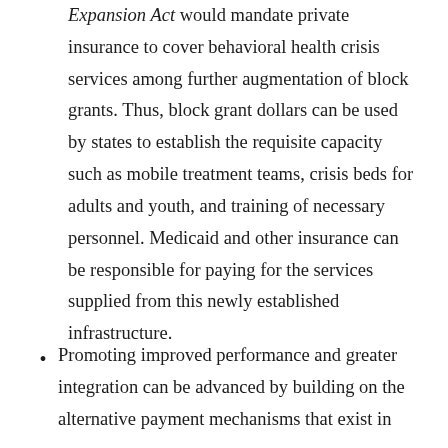Expansion Act would mandate private insurance to cover behavioral health crisis services among further augmentation of block grants. Thus, block grant dollars can be used by states to establish the requisite capacity such as mobile treatment teams, crisis beds for adults and youth, and training of necessary personnel. Medicaid and other insurance can be responsible for paying for the services supplied from this newly established infrastructure.
Promoting improved performance and greater integration can be advanced by building on the alternative payment mechanisms that exist in